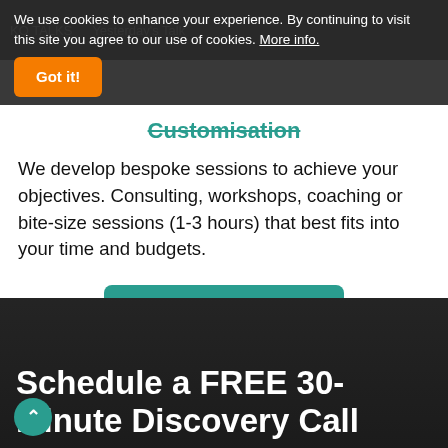We use cookies to enhance your experience. By continuing to visit this site you agree to our use of cookies. More info.
Got it!
Customisation
We develop bespoke sessions to achieve your objectives. Consulting, workshops, coaching or bite-size sessions (1-3 hours) that best fits into your time and budgets.
Yes, Let's Talk
Schedule a FREE 30-Minute Discovery Call